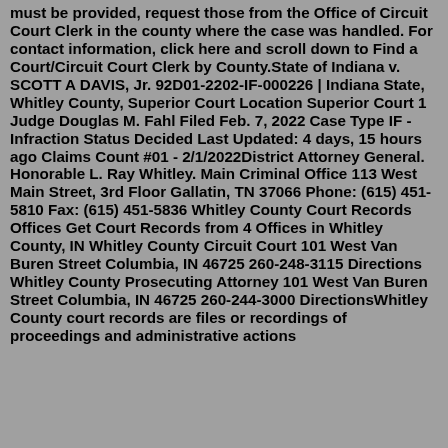must be provided, request those from the Office of Circuit Court Clerk in the county where the case was handled. For contact information, click here and scroll down to Find a Court/Circuit Court Clerk by County.State of Indiana v. SCOTT A DAVIS, Jr. 92D01-2202-IF-000226 | Indiana State, Whitley County, Superior Court Location Superior Court 1 Judge Douglas M. Fahl Filed Feb. 7, 2022 Case Type IF - Infraction Status Decided Last Updated: 4 days, 15 hours ago Claims Count #01 - 2/1/2022District Attorney General. Honorable L. Ray Whitley. Main Criminal Office 113 West Main Street, 3rd Floor Gallatin, TN 37066 Phone: (615) 451-5810 Fax: (615) 451-5836 Whitley County Court Records Offices Get Court Records from 4 Offices in Whitley County, IN Whitley County Circuit Court 101 West Van Buren Street Columbia, IN 46725 260-248-3115 Directions Whitley County Prosecuting Attorney 101 West Van Buren Street Columbia, IN 46725 260-244-3000 DirectionsWhitley County court records are files or recordings of proceedings and administrative actions